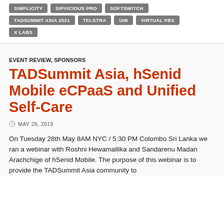SIMPLICITY
SIPVICIOUS PRO
SOFTSWITCH
TADSUMMIT ASIA 2021
TELSTRA
UIB
VIRTUAL PBX
X LABS
EVENT REVIEW, SPONSORS
TADSummit Asia, hSenid Mobile eCPaaS and Unified Self-Care
MAY 28, 2019
On Tuesday 28th May 8AM NYC / 5:30 PM Colombo Sri Lanka we ran a webinar with Roshni Hewamallika and Sandarenu Madan Arachchige of hSenid Mobile. The purpose of this webinar is to provide the TADSummit Asia community to...